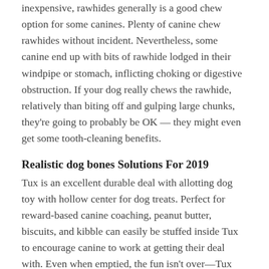inexpensive, rawhides generally is a good chew option for some canines. Plenty of canine chew rawhides without incident. Nevertheless, some canine end up with bits of rawhide lodged in their windpipe or stomach, inflicting choking or digestive obstruction. If your dog really chews the rawhide, relatively than biting off and gulping large chunks, they're going to probably be OK — they might even get some tooth-cleaning benefits.
Realistic dog bones Solutions For 2019
Tux is an excellent durable deal with allotting dog toy with hollow center for dog treats. Perfect for reward-based canine coaching, peanut butter, biscuits, and kibble can easily be stuffed inside Tux to encourage canine to work at getting their deal with. Even when emptied, the fun isn't over—Tux floats, flings, bounces, goes within the dishwasher and survives critical chew classes. One of the